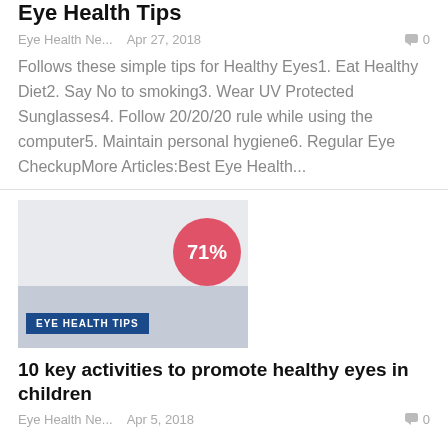Eye Health Tips
Eye Health Ne...   Apr 27, 2018   0
Follows these simple tips for Healthy Eyes1. Eat Healthy Diet2. Say No to smoking3. Wear UV Protected Sunglasses4. Follow 20/20/20 rule while using the computer5. Maintain personal hygiene6. Regular Eye CheckupMore Articles:Best Eye Health...
[Figure (illustration): Article card thumbnail image with light grey background, a pink/red circle badge showing '71%', a darker grey lower section, and a dark blue label tag reading 'EYE HEALTH TIPS']
10 key activities to promote healthy eyes in children
Eye Health Ne...   Apr 5, 2018   0